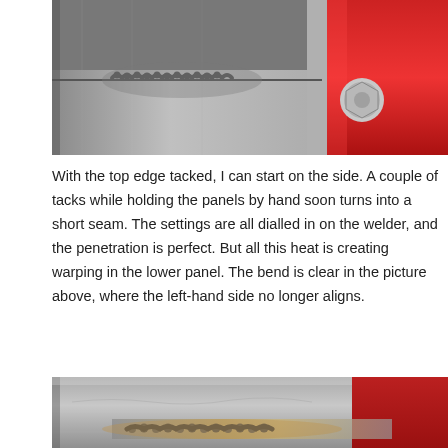[Figure (photo): Close-up photograph of a tack weld at the top edge where two metal panels meet, with a red painted component and a bolt/nut visible on the right side. The weld bead is visible as a dotted line along the seam.]
With the top edge tacked, I can start on the side. A couple of tacks while holding the panels by hand soon turns into a short seam. The settings are all dialled in on the welder, and the penetration is perfect. But all this heat is creating warping in the lower panel. The bend is clear in the picture above, where the left-hand side no longer aligns.
[Figure (photo): Close-up photograph of a welded metal seam showing a weld bead along the bottom edge of a metal panel, with a red component visible at top right. The metal shows heat discoloration and the weld bead is clearly visible.]